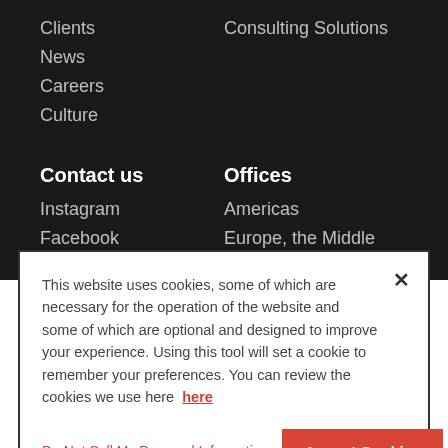Clients
Consulting Solutions
News
Careers
Culture
Contact us
Offices
Instagram
Americas
Facebook
Europe, the Middle East,
This website uses cookies, some of which are necessary for the operation of the website and some of which are optional and designed to improve your experience. Using this tool will set a cookie to remember your preferences. You can review the cookies we use here here
Do Not Sell My Personal Information
Accept Cookies